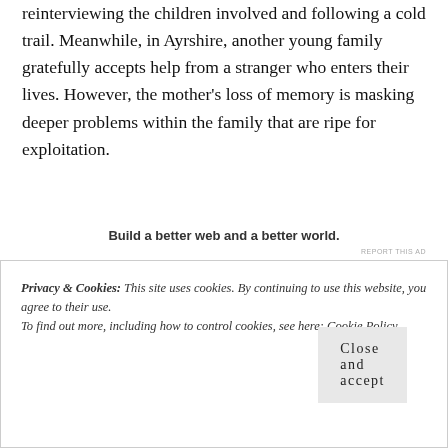children. He goes on a search for the woman, reinterviewing the children involved and following a cold trail. Meanwhile, in Ayrshire, another young family gratefully accepts help from a stranger who enters their lives. However, the mother's loss of memory is masking deeper problems within the family that are ripe for exploitation.
Build a better web and a better world.
REPORT THIS AD
Privacy & Cookies: This site uses cookies. By continuing to use this website, you agree to their use.
To find out more, including how to control cookies, see here: Cookie Policy
Close and accept